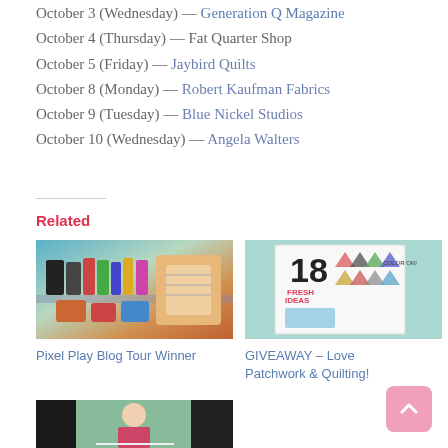October 3 (Wednesday) — Generation Q Magazine
October 4 (Thursday) — Fat Quarter Shop
October 5 (Friday) — Jaybird Quilts
October 8 (Monday) — Robert Kaufman Fabrics
October 9 (Tuesday) — Blue Nickel Studios
October 10 (Wednesday) — Angela Walters
Related
[Figure (photo): Pixel Play Blog Tour Winner — craft supplies and books on a table]
Pixel Play Blog Tour Winner
[Figure (photo): GIVEAWAY – Love Patchwork & Quilting magazine cover with triangles]
GIVEAWAY – Love Patchwork & Quilting!
[Figure (photo): Bottom left image partially visible — illustration of a person quilting]